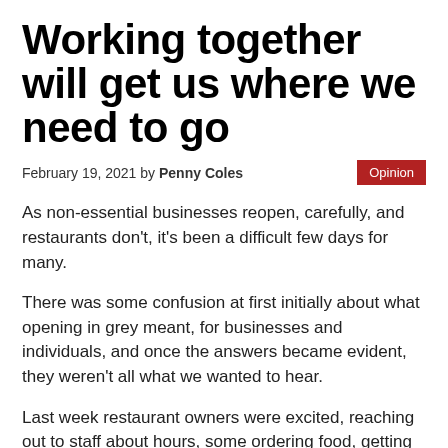Working together will get us where we need to go
February 19, 2021 by Penny Coles
Opinion
As non-essential businesses reopen, carefully, and restaurants don't, it's been a difficult few days for many.
There was some confusion at first initially about what opening in grey meant, for businesses and individuals, and once the answers became evident, they weren't all what we wanted to hear.
Last week restaurant owners were excited, reaching out to staff about hours, some ordering food, getting their dining rooms spruced up and ready to open this week.